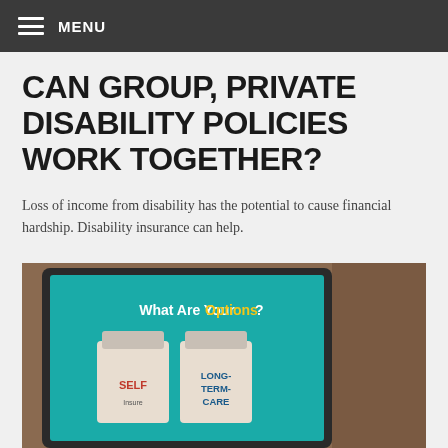MENU
CAN GROUP, PRIVATE DISABILITY POLICIES WORK TOGETHER?
Loss of income from disability has the potential to cause financial hardship. Disability insurance can help.
[Figure (photo): Tablet screen showing 'What Are Your Options?' with pill bottles labeled SELF Insure and LONG-TERM-CARE on a teal background]